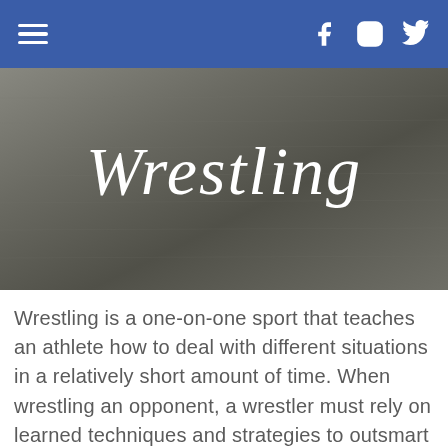Navigation bar with hamburger menu, Facebook, Instagram, and Twitter icons
[Figure (photo): Hero image with gray textured background and 'Wrestling' written in white cursive/script font]
Wrestling is a one-on-one sport that teaches an athlete how to deal with different situations in a relatively short amount of time. When wrestling an opponent, a wrestler must rely on learned techniques and strategies to outsmart their opponent. The focus and self-discipline that a wrestler develops while learning the sport are invaluable to them. Throughout the wrestling season, an athlete will learn a great deal about the sport, themselves as a competitor, and the dedication it takes to be a good wrestler.